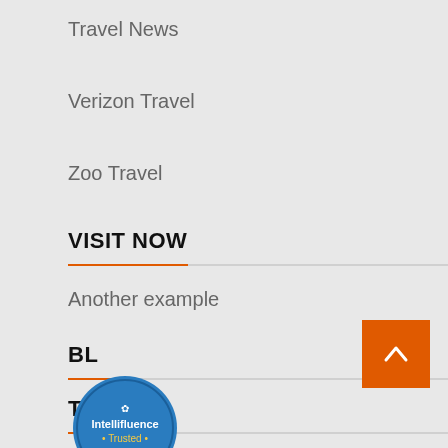Travel News
Verizon Travel
Zoo Travel
VISIT NOW
Another example
BL
TL
[Figure (logo): Intellifluence Trusted badge - blue circular badge with text]